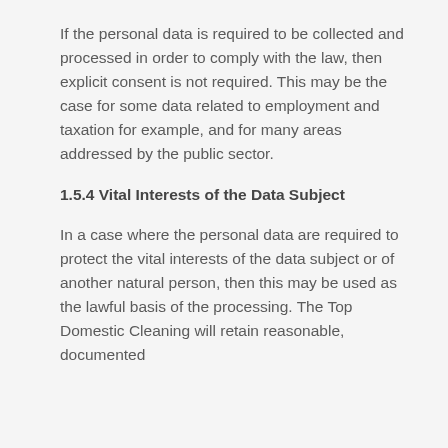If the personal data is required to be collected and processed in order to comply with the law, then explicit consent is not required. This may be the case for some data related to employment and taxation for example, and for many areas addressed by the public sector.
1.5.4 Vital Interests of the Data Subject
In a case where the personal data are required to protect the vital interests of the data subject or of another natural person, then this may be used as the lawful basis of the processing. The Top Domestic Cleaning will retain reasonable, documented